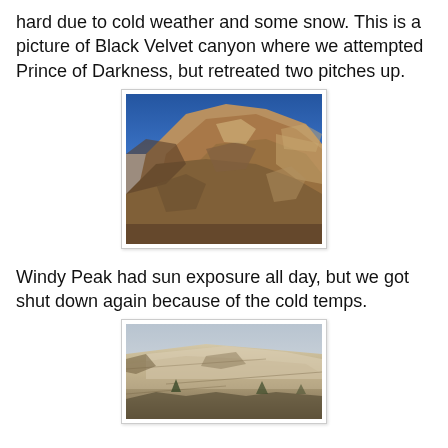hard due to cold weather and some snow. This is a picture of Black Velvet canyon where we attempted Prince of Darkness, but retreated two pitches up.
[Figure (photo): Looking up at Black Velvet canyon walls, sandstone rock face with blue sky above]
Windy Peak had sun exposure all day, but we got shut down again because of the cold temps.
[Figure (photo): Rocky terrain at Windy Peak, showing light-colored rock slabs with sparse vegetation]